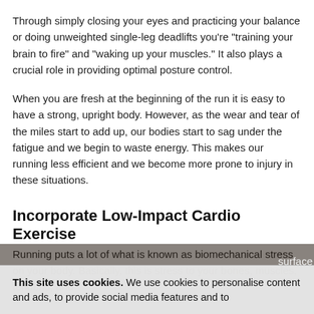Through simply closing your eyes and practicing your balance or doing unweighted single-leg deadlifts you're "training your brain to fire" and "waking up your muscles." It also plays a crucial role in providing optimal posture control.
When you are fresh at the beginning of the run it is easy to have a strong, upright body. However, as the wear and tear of the miles start to add up, our bodies start to sag under the fatigue and we begin to waste energy. This makes our running less efficient and we become more prone to injury in these situations.
Incorporate Low-Impact Cardio Exercise
Running puts a lot of what is known as biomechanical stress on your body. Basically, this is stress to your bones, muscles, tendons, and surface
This site uses cookies. We use cookies to personalise content and ads, to provide social media features and to